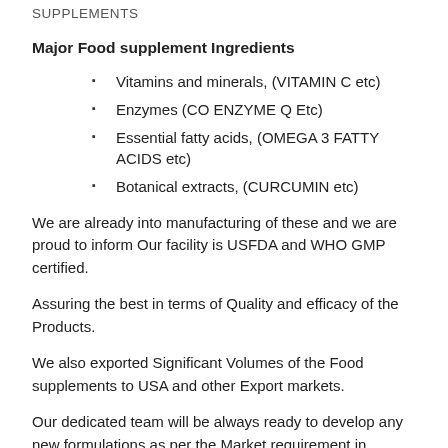SUPPLEMENTS
Major Food supplement Ingredients
Vitamins and minerals, (VITAMIN C etc)
Enzymes (CO ENZYME Q Etc)
Essential fatty acids, (OMEGA 3 FATTY ACIDS etc)
Botanical extracts, (CURCUMIN etc)
We are already into manufacturing of these and we are proud to inform Our facility is USFDA and WHO GMP certified.
Assuring the best in terms of Quality and efficacy of the Products.
We also exported Significant Volumes of the Food supplements to USA and other Export markets.
Our dedicated team will be always ready to develop any new formulations as per the Market requirement in suitable dosage